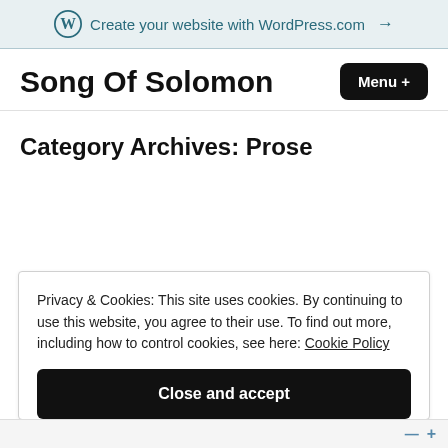Create your website with WordPress.com →
Song Of Solomon
Category Archives: Prose
Privacy & Cookies: This site uses cookies. By continuing to use this website, you agree to their use. To find out more, including how to control cookies, see here: Cookie Policy
Close and accept
— +